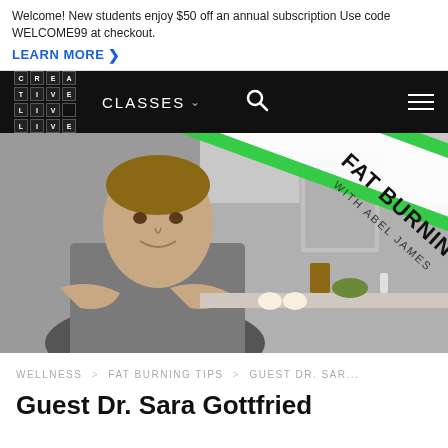Welcome! New students enjoy $50 off an annual subscription Use code WELCOME99 at checkout. LEARN MORE →
[Figure (screenshot): CreativeLive navigation bar with logo, CLASSES menu, search icon, and hamburger menu on black background]
[Figure (photo): Hero image showing Abel James (man with arms crossed in kitchen) with diagonal green and white banner overlay reading FAT BURNING WITH ABEL JAMES]
WELLNESS > FAT BURNING TIPS > GUEST DR. SAR...
Guest Dr. Sara Gottfried